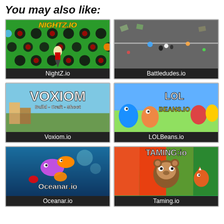You may also like:
[Figure (screenshot): NightZ.io game thumbnail showing green game field with dark orbs and a character, with yellow italic NIGHTZ.IO logo at top]
NightZ.io
[Figure (screenshot): Battledudes.io game thumbnail showing top-down shooter game on grey background]
Battledudes.io
[Figure (screenshot): Voxiom.io game thumbnail with VOXIOM text and Build - Craft - Shoot subtitle over voxel landscape]
Voxiom.io
[Figure (screenshot): LOLBeans.io game thumbnail showing colorful cartoon bean characters with LOL BEANS.IO logo]
LOLBeans.io
[Figure (screenshot): Oceanar.io game thumbnail showing underwater scene with colorful fish and Oceanar.io logo]
Oceanar.io
[Figure (screenshot): Taming.io game thumbnail showing TAMING:io logo with cartoon animal characters on colorful background]
Taming.io